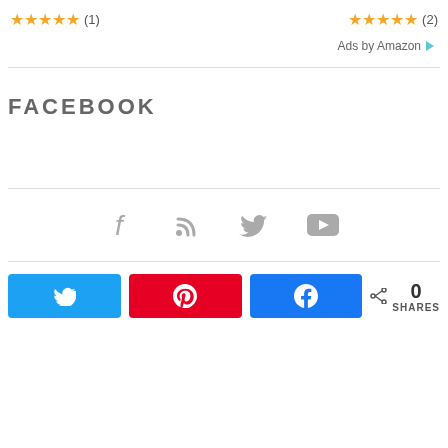[Figure (other): Star ratings with review counts: 5 stars (1) on the left and 5 stars (2) on the right, with 'Ads by Amazon' label with arrow icon on the far right]
FACEBOOK
[Figure (other): Social media icons: Facebook (f), RSS feed, Twitter bird, YouTube play button — displayed in a row, grey colored]
[Figure (other): Share bar with Twitter (blue), Pinterest (red), and Facebook (blue) share buttons, and a share count showing 0 SHARES]